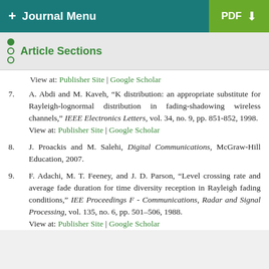+ Journal Menu | PDF (download)
Article Sections
View at: Publisher Site | Google Scholar
7. A. Abdi and M. Kaveh, “K distribution: an appropriate substitute for Rayleigh-lognormal distribution in fading-shadowing wireless channels,” IEEE Electronics Letters, vol. 34, no. 9, pp. 851-852, 1998.
View at: Publisher Site | Google Scholar
8. J. Proackis and M. Salehi, Digital Communications, McGraw-Hill Education, 2007.
9. F. Adachi, M. T. Feeney, and J. D. Parson, “Level crossing rate and average fade duration for time diversity reception in Rayleigh fading conditions,” IEE Proceedings F - Communications, Radar and Signal Processing, vol. 135, no. 6, pp. 501–506, 1988.
View at: Publisher Site | Google Scholar